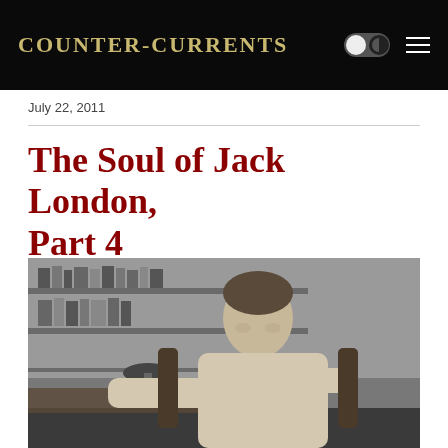Counter-Currents
July 22, 2011
The Soul of Jack London, Part 4
Dietrich Wolf
[Figure (photo): Black and white photograph of a man (Jack London) seated in a chair in front of bookshelves, looking relaxed with arms resting, wearing a light-colored shirt.]